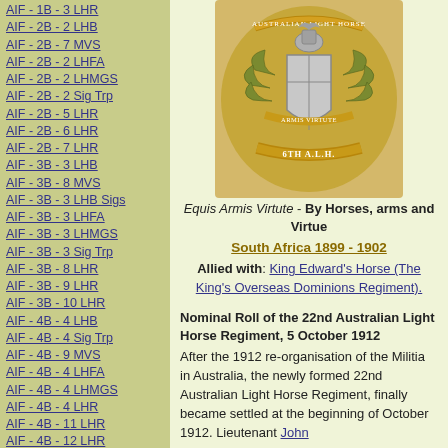AIF - 1B - 3 LHR
AIF - 2B - 2 LHB
AIF - 2B - 7 MVS
AIF - 2B - 2 LHFA
AIF - 2B - 2 LHMGS
AIF - 2B - 2 Sig Trp
AIF - 2B - 5 LHR
AIF - 2B - 6 LHR
AIF - 2B - 7 LHR
AIF - 3B - 3 LHB
AIF - 3B - 8 MVS
AIF - 3B - 3 LHB Sigs
AIF - 3B - 3 LHFA
AIF - 3B - 3 LHMGS
AIF - 3B - 3 Sig Trp
AIF - 3B - 8 LHR
AIF - 3B - 9 LHR
AIF - 3B - 10 LHR
AIF - 4B - 4 LHB
AIF - 4B - 4 Sig Trp
AIF - 4B - 9 MVS
AIF - 4B - 4 LHFA
AIF - 4B - 4 LHMGS
AIF - 4B - 4 LHR
AIF - 4B - 11 LHR
AIF - 4B - 12 LHR
AIF - 5B - 5 LHB
AIF - 5B - 10 MVS
[Figure (photo): Military badge/emblem for the 6th Australian Light Horse Regiment (6th A.L.H.) with motto 'Equis Armis Virtute']
Equis Armis Virtute - By Horses, arms and Virtue
South Africa 1899 - 1902
Allied with: King Edward's Horse (The King's Overseas Dominions Regiment).
Nominal Roll of the 22nd Australian Light Horse Regiment, 5 October 1912
After the 1912 re-organisation of the Militia in Australia, the newly formed 22nd Australian Light Horse Regiment, finally became settled at the beginning of October 1912. Lieutenant John